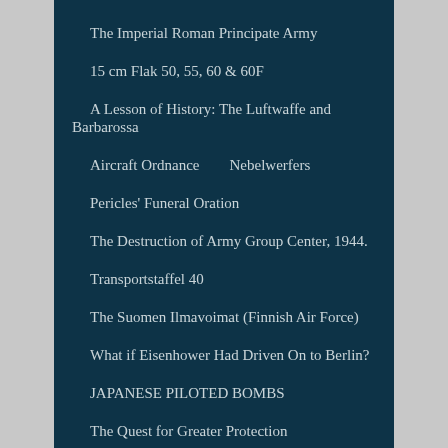The Imperial Roman Principate Army
15 cm Flak 50, 55, 60 & 60F
A Lesson of History: The Luftwaffe and Barbarossa
Aircraft Ordnance        Nebelwerfers
Pericles' Funeral Oration
The Destruction of Army Group Center, 1944.
Transportstaffel 40
The Suomen Ilmavoimat (Finnish Air Force)
What if Eisenhower Had Driven On to Berlin?
JAPANESE PILOTED BOMBS
The Quest for Greater Protection
THE WAR OF THE SPANISH SUCCESSION